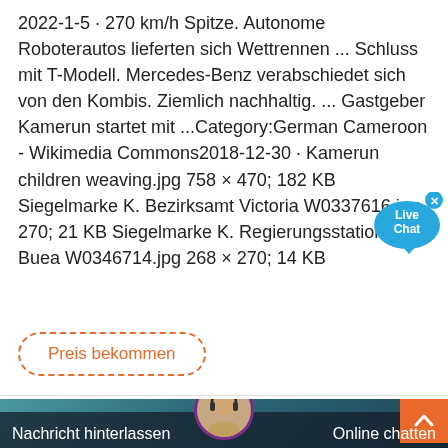2022-1-5 · 270 km/h Spitze. Autonome Roboterautos lieferten sich Wettrennen ... Schluss mit T-Modell. Mercedes-Benz verabschiedet sich von den Kombis. Ziemlich nachhaltig. ... Gastgeber Kamerun startet mit ...Category:German Cameroon - Wikimedia Commons2018-12-30 · Kamerun children weaving.jpg 758 × 470; 182 KB Siegelmarke K. Bezirksamt Victoria W0337616.jpg 270; 21 KB Siegelmarke K. Regierungsstation Buea W0346714.jpg 268 × 270; 14 KB
[Figure (other): Live Chat button/bubble with close X]
[Figure (other): Button: 'Preis bekommen' with dashed orange border]
[Figure (other): Bottom chat footer banner with teal background, agent avatar, orange scroll-to-top button, text 'Nachricht hinterlassen' and 'Online chatten']